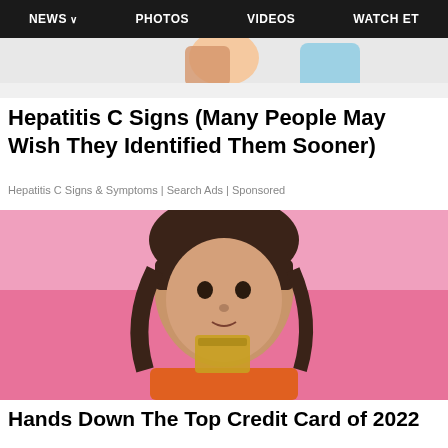NEWS  PHOTOS  VIDEOS  WATCH ET
[Figure (illustration): Partial cartoon/illustration at top of page showing colorful character elements on light background]
Hepatitis C Signs (Many People May Wish They Identified Them Sooner)
Hepatitis C Signs & Symptoms | Search Ads | Sponsored
[Figure (photo): Young woman with dark hair and bangs, smiling slightly, holding a gold/tan credit card in front of a bright pink background, wearing an orange top]
Hands Down The Top Credit Card of 2022